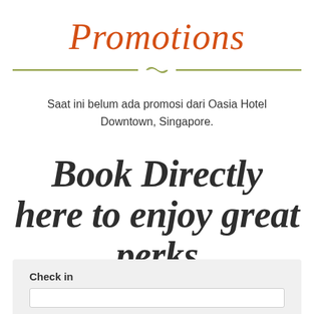Promotions
Saat ini belum ada promosi dari Oasia Hotel Downtown, Singapore.
Book Directly here to enjoy great perks
Check in